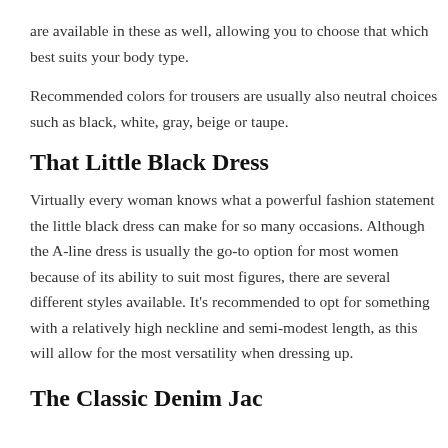are available in these as well, allowing you to choose that which best suits your body type.
Recommended colors for trousers are usually also neutral choices such as black, white, gray, beige or taupe.
That Little Black Dress
Virtually every woman knows what a powerful fashion statement the little black dress can make for so many occasions. Although the A-line dress is usually the go-to option for most women because of its ability to suit most figures, there are several different styles available. It's recommended to opt for something with a relatively high neckline and semi-modest length, as this will allow for the most versatility when dressing up.
The Classic Denim Jacket